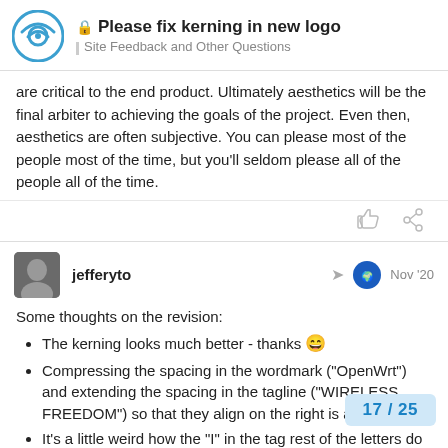Please fix kerning in new logo — Site Feedback and Other Questions
are critical to the end product. Ultimately aesthetics will be the final arbiter to achieving the goals of the project. Even then, aesthetics are often subjective. You can please most of the people most of the time, but you'll seldom please all of the people all of the time.
[Figure (other): Like and link/share action icons]
jefferyto — Nov '20
Some thoughts on the revision:
The kerning looks much better - thanks 😄
Compressing the spacing in the wordmark ("OpenWrt") and extending the spacing in the tagline ("WIRELESS FREEDOM") so that they align on the right is a nice touch.
It's a little weird how the "I" in the tag rest of the letters do not, but this is ju
17 / 25